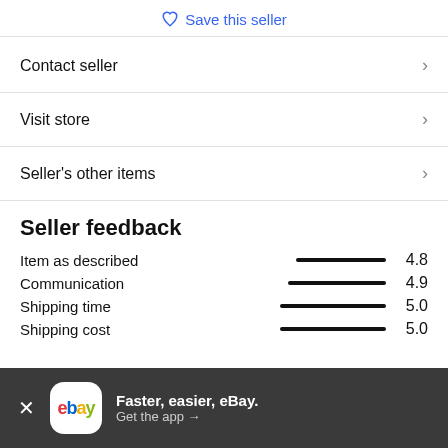Save this seller
Contact seller
Visit store
Seller's other items
Seller feedback
Item as described 4.8
Communication 4.9
Shipping time 5.0
Shipping cost 5.0
Faster, easier, eBay. Get the app →